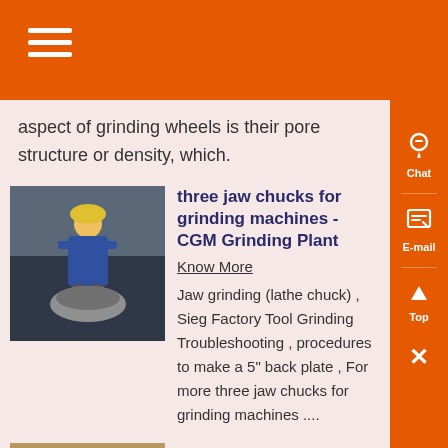aspect of grinding wheels is their pore structure or density, which.
three jaw chucks for grinding machines - CGM Grinding Plant
Know More
Jaw grinding (lathe chuck) , Sieg Factory Tool Grinding Troubleshooting , procedures to make a 5" back plate , For more three jaw chucks for grinding machines ....
[Figure (photo): Worker in blue uniform and yellow hard hat working with industrial grinding equipment]
Portable Disk Grinder - ia